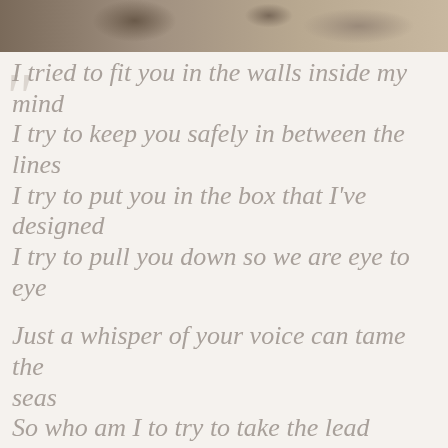[Figure (photo): Partial photo strip at top of page showing an outdoor sandy/dusty scene with muted brown tones]
I tried to fit you in the walls inside my mind
I try to keep you safely in between the lines
I try to put you in the box that I've designed
I try to pull you down so we are eye to eye

Just a whisper of your voice can tame the seas
So who am I to try to take the lead
Still I run ahead and think I'm strong